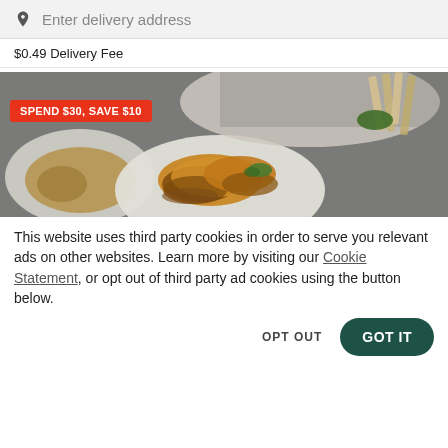Enter delivery address
$0.49 Delivery Fee
[Figure (photo): Food delivery app promotional banner showing fried onion rings and other dishes on plates against a dark background, with a red badge reading SPEND $30, SAVE $10]
This website uses third party cookies in order to serve you relevant ads on other websites. Learn more by visiting our Cookie Statement, or opt out of third party ad cookies using the button below.
OPT OUT
GOT IT